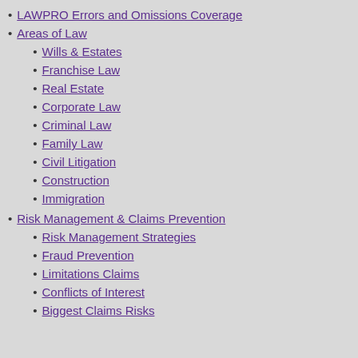LAWPRO Errors and Omissions Coverage
Areas of Law
Wills & Estates
Franchise Law
Real Estate
Corporate Law
Criminal Law
Family Law
Civil Litigation
Construction
Immigration
Risk Management & Claims Prevention
Risk Management Strategies
Fraud Prevention
Limitations Claims
Conflicts of Interest
Biggest Claims Risks